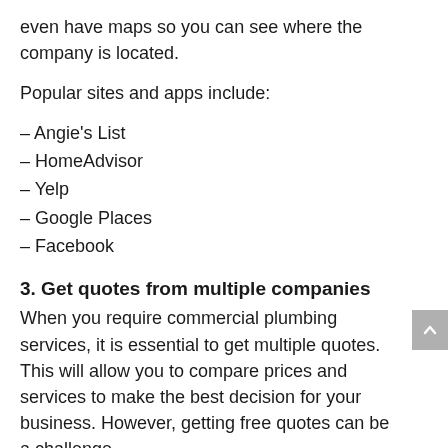even have maps so you can see where the company is located.
Popular sites and apps include:
– Angie's List
– HomeAdvisor
– Yelp
– Google Places
– Facebook
3. Get quotes from multiple companies
When you require commercial plumbing services, it is essential to get multiple quotes. This will allow you to compare prices and services to make the best decision for your business. However, getting free quotes can be a challenge.